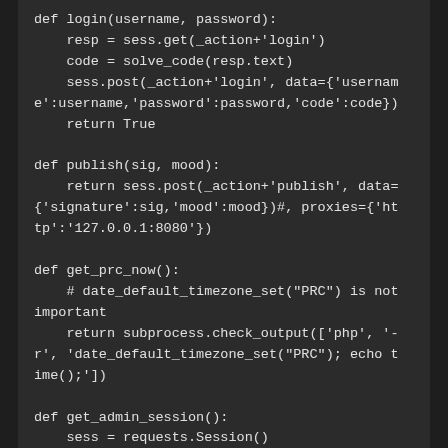[Figure (screenshot): Dark-themed code editor showing Python functions: login(), publish(), get_prc_now(), and get_admin_session() with monospace white text on dark background.]